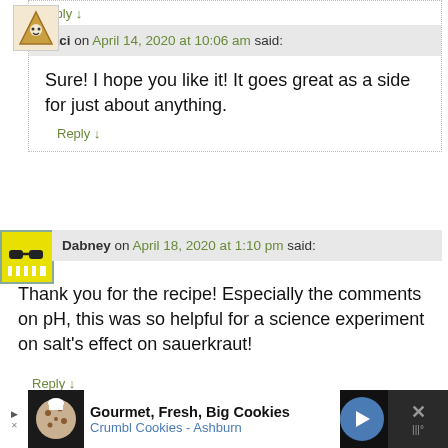Reply ↓
[Figure (illustration): Avatar icon for user Traci - triangle/pyramid character]
Traci on April 14, 2020 at 10:06 am said:
Sure! I hope you like it! It goes great as a side for just about anything.
Reply ↓
[Figure (illustration): Avatar icon for user Dabney - sunglasses monster character]
Dabney on April 18, 2020 at 1:10 pm said:
Thank you for the recipe! Especially the comments on pH, this was so helpful for a science experiment on salt's effect on sauerkraut!
Reply ↓
[Figure (photo): Avatar photo of user fermenTed - man's face]
fermenTed on April 18, 2020 at 2:48 pm said:
[Figure (illustration): Advertisement banner: Gourmet, Fresh, Big Cookies - Crumbl Cookies - Ashburn]